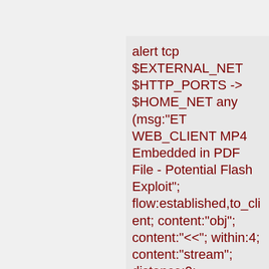alert tcp $EXTERNAL_NET $HTTP_PORTS -> $HOME_NET any (msg:"ET WEB_CLIENT MP4 Embedded in PDF File - Potential Flash Exploit"; flow:established,to_client; content:"obj"; content:"<<"; within:4; content:"stream"; distance:0; content:"|00 00 00 18 66 74 79 70|mp4"; within:13; reference:cve,2012-0754; reference:url,blog.2hpls...